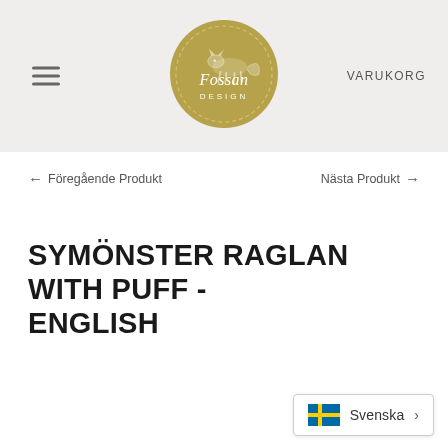Fossan Design — VARUKORG
[Figure (logo): Fossan Design circular logo in gold/olive color featuring a fox silhouette and the text 'Fossan DESIGN' with a dashed border]
← Föregående Produkt   Nästa Produkt →
SYMÖNSTER RAGLAN WITH PUFF - ENGLISH
Svenska >